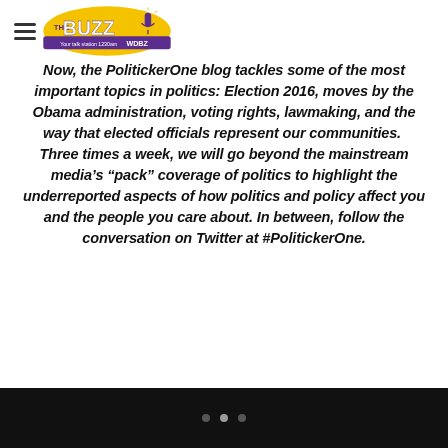The Buzz WDBZ 1230am
Now, the PolitickerOne blog tackles some of the most important topics in politics: Election 2016, moves by the Obama administration, voting rights, lawmaking, and the way that elected officials represent our communities. Three times a week, we will go beyond the mainstream media’s “pack” coverage of politics to highlight the underreported aspects of how politics and policy affect you and the people you care about. In between, follow the conversation on Twitter at #PolitickerOne.
• • •